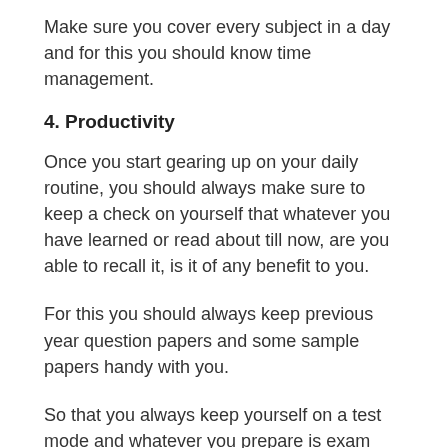Make sure you cover every subject in a day and for this you should know time management.
4. Productivity
Once you start gearing up on your daily routine, you should always make sure to keep a check on yourself that whatever you have learned or read about till now, are you able to recall it, is it of any benefit to you.
For this you should always keep previous year question papers and some sample papers handy with you.
So that you always keep yourself on a test mode and whatever you prepare is exam worthy.
5. Polishing